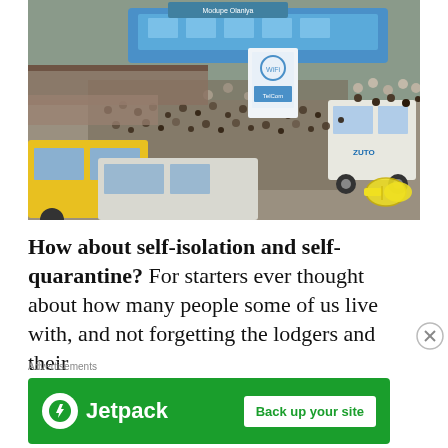[Figure (photo): Aerial view of a crowded bus station or market area with many people, yellow minibuses, vans, and a large blue bus. Densely packed crowd of people on foot, market stalls with corrugated roofing visible.]
How about self-isolation and self-quarantine? For starters ever thought about how many people some of us live with, and not forgetting the lodgers and their
Advertisements
[Figure (logo): Jetpack advertisement banner with green background. Jetpack logo (white circle with lightning bolt) on the left, 'Jetpack' text in white, and a 'Back up your site' button on the right.]